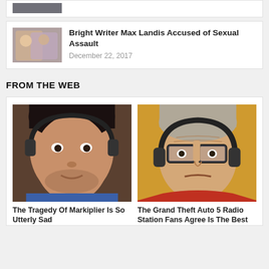[Figure (photo): Partial thumbnail image at top of page, cropped]
Bright Writer Max Landis Accused of Sexual Assault
December 22, 2017
FROM THE WEB
[Figure (photo): Photo of Markiplier (young man with dark hair and headphones)]
[Figure (illustration): GTA 5 character illustration (older man with glasses and headphones)]
The Tragedy Of Markiplier Is So Utterly Sad
The Grand Theft Auto 5 Radio Station Fans Agree Is The Best